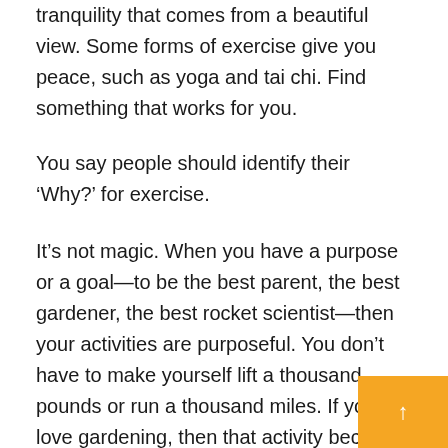tranquility that comes from a beautiful view. Some forms of exercise give you peace, such as yoga and tai chi. Find something that works for you.
You say people should identify their ‘Why?’ for exercise.
It’s not magic. When you have a purpose or a goal—to be the best parent, the best gardener, the best rocket scientist—then your activities are purposeful. You don’t have to make yourself lift a thousand pounds or run a thousand miles. If you love gardening, then that activity becomes a purposeful movement and you don’t have to work at it. Mind and body are connected.